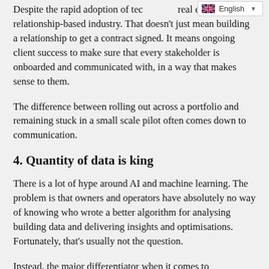Despite the rapid adoption of tec... real estate is still a relationship-based industry. That doesn't just mean building a relationship to get a contract signed. It means ongoing client success to make sure that every stakeholder is onboarded and communicated with, in a way that makes sense to them.
The difference between rolling out across a portfolio and remaining stuck in a small scale pilot often comes down to communication.
4. Quantity of data is king
There is a lot of hype around AI and machine learning. The problem is that owners and operators have absolutely no way of knowing who wrote a better algorithm for analysing building data and delivering insights and optimisations. Fortunately, that's usually not the question.
Instead, the major differentiator when it comes to